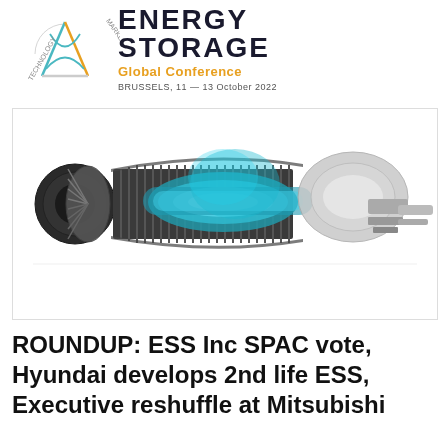[Figure (logo): Energy Storage Global Conference logo with circular technology-market diagram and text: ENERGY STORAGE Global Conference, BRUSSELS, 11 — 13 October 2022]
[Figure (photo): Cut-away technical illustration of a large industrial gas turbine engine with teal/blue compressor blades visible, shown in cross-section against a white background with reflection below]
ROUNDUP: ESS Inc SPAC vote, Hyundai develops 2nd life ESS, Executive reshuffle at Mitsubishi